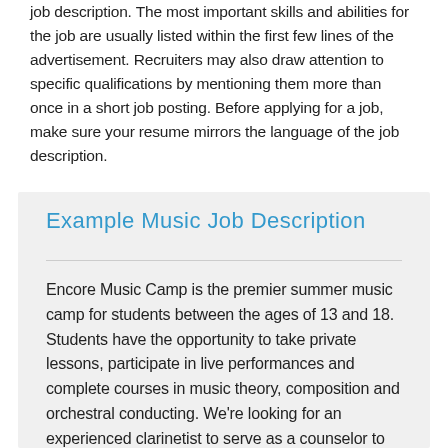job description. The most important skills and abilities for the job are usually listed within the first few lines of the advertisement. Recruiters may also draw attention to specific qualifications by mentioning them more than once in a short job posting. Before applying for a job, make sure your resume mirrors the language of the job description.
Example Music Job Description
Encore Music Camp is the premier summer music camp for students between the ages of 13 and 18. Students have the opportunity to take private lessons, participate in live performances and complete courses in music theory, composition and orchestral conducting. We're looking for an experienced clarinetist to serve as a counselor to